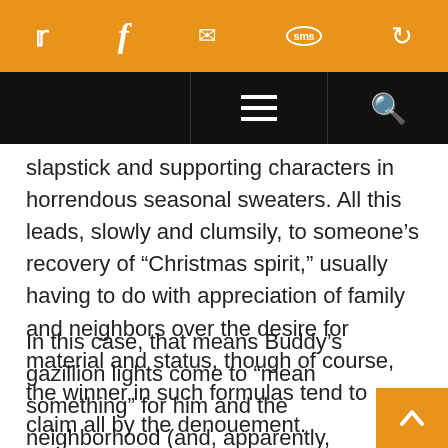Social sharing toolbar with Twitter, Facebook, Email, SMS, and share icons
[Figure (screenshot): Navigation bar with hamburger menu and search icon on black background]
slapstick and supporting characters in horrendous seasonal sweaters. All this leads, slowly and clumsily, to someone’s recovery of “Christmas spirit,” usually having to do with appreciation of family and neighbors over the desire for material and status, though of course, the winner in such formulas tend to claim all by the denouement.
In this case, that means Buddy’s gazillion lights come to “mean something” for him and the neighborhood (and, apparently, SuChin Pak), even